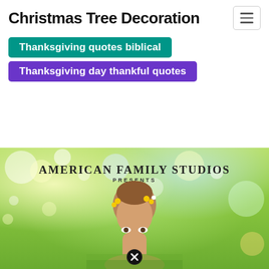Christmas Tree Decoration
Thanksgiving quotes biblical
Thanksgiving day thankful quotes
[Figure (photo): American Family Studios presents — a promotional image with a young girl in a meadow with flowers in her hair, bokeh light effects in the background, and a close button overlay]